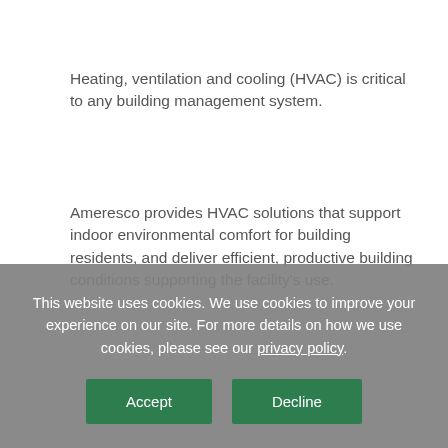Heating, ventilation and cooling (HVAC) is critical to any building management system.
Ameresco provides HVAC solutions that support indoor environmental comfort for building residents, and deliver efficient, productive building conditions supporting the facility's use.
Comfort and efficiency
Our solutions recognize that healthful, comfortable air is
This website uses cookies. We use cookies to improve your experience on our site. For more details on how we use cookies, please see our privacy policy.